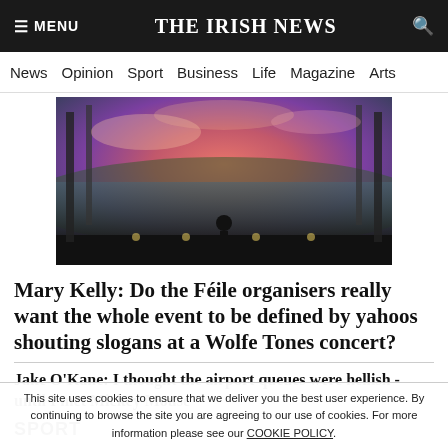≡ MENU   THE IRISH NEWS   🔍
News  Opinion  Sport  Business  Life  Magazine  Arts
[Figure (photo): Wide-angle aerial view of a large outdoor concert stage with a crowd of thousands in the background under a dramatic pink and purple sunset sky. A performer stands at the front of the stage facing the crowd.]
Mary Kelly: Do the Féile organisers really want the whole event to be defined by yahoos shouting slogans at a Wolfe Tones concert?
Jake O'Kane: I thought the airport queues were hellish - until I met Mickey Mouse
SPORT
This site uses cookies to ensure that we deliver you the best user experience. By continuing to browse the site you are agreeing to our use of cookies. For more information please see our COOKIE POLICY.